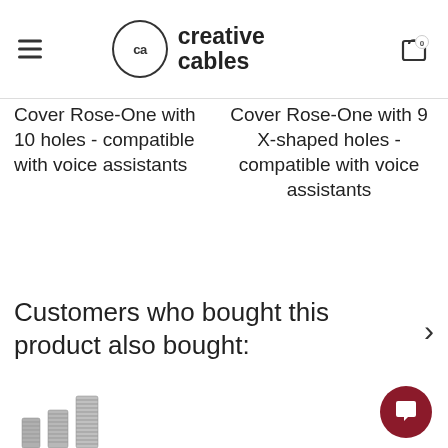creative cables
Cover Rose-One with 10 holes - compatible with voice assistants
Cover Rose-One with 9 X-shaped holes - compatible with voice assistants
Customers who bought this product also bought:
[Figure (photo): Set of metal threaded nipples/tubes of varying heights (silver/grey), displayed in ascending height order from left to right.]
[Figure (photo): Black plastic strain relief/cord grip bushing and a black cable connector, displayed side by side.]